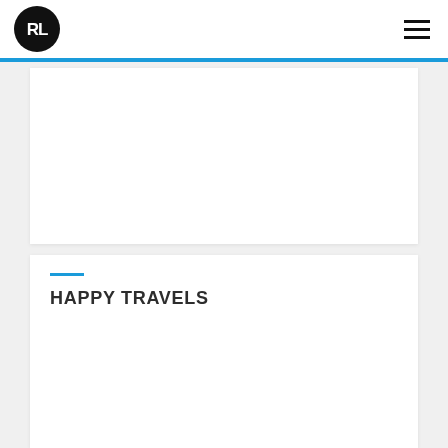RL logo and navigation
[Figure (logo): RL initials in white on black circle, representing a website logo]
HAPPY TRAVELS